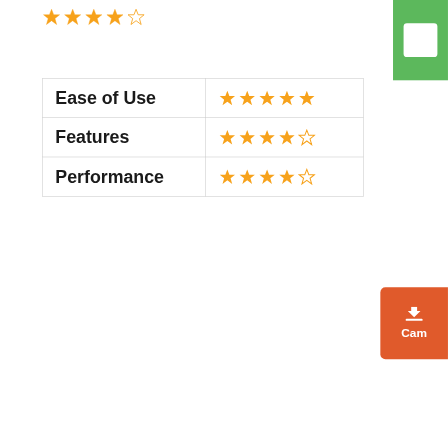[Figure (other): Overall star rating: 4 out of 5 stars (orange filled stars, last one empty)]
[Figure (other): Green logo/icon block in top right corner]
| Category | Rating |
| --- | --- |
| Ease of Use | ★★★★★ (5 stars) |
| Features | ★★★★☆ (4.5 stars) |
| Performance | ★★★★☆ (4.5 stars) |
[Figure (other): Orange download button with Cam(tasia) label in the right side]
If you are a teacher or tutorial video creator, Camtasia is the best solution to your multiple problems. It comes with both a screen recorder and a video editor in a single program. Cam can create and edit instructional videos, "How to?" tutorials, ads, marketing videos, video lessons, and more such. Along with other features, one of the outstanding features is integration with PowerPoint.